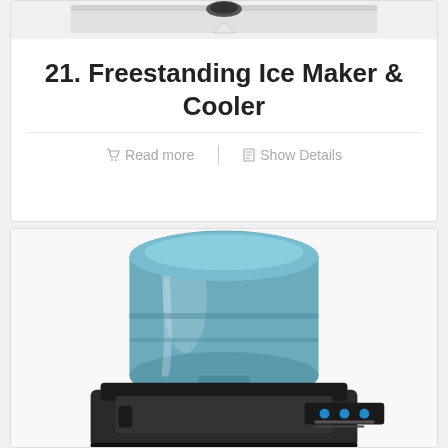[Figure (photo): Partial top image of a freestanding ice maker appliance, showing the top portion]
21. Freestanding Ice Maker & Cooler
Read more | Show Details
[Figure (photo): Photo of a water cooler with a large blue 5-gallon water bottle loaded on top of a black base unit with a control panel]